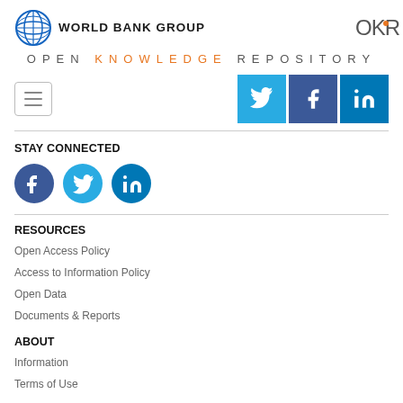[Figure (logo): World Bank Group logo with globe icon and text 'WORLD BANK GROUP']
[Figure (logo): OKR logo in dark gray with orange dot]
OPEN KNOWLEDGE REPOSITORY
[Figure (screenshot): Hamburger menu icon (three horizontal lines in a bordered box) and social media share buttons for Twitter (light blue), Facebook (dark blue), LinkedIn (blue)]
STAY CONNECTED
[Figure (infographic): Three circular social media icons: Facebook (dark blue), Twitter (light blue), LinkedIn (dark blue)]
RESOURCES
Open Access Policy
Access to Information Policy
Open Data
Documents & Reports
ABOUT
Information
Terms of Use